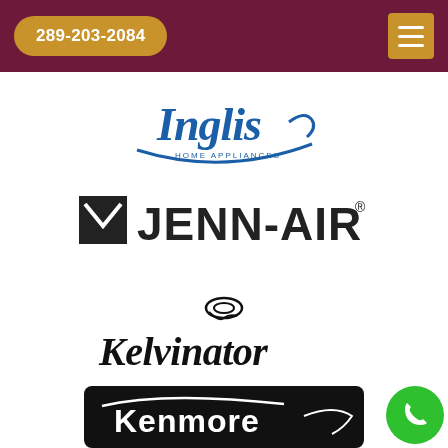289-203-2084
[Figure (logo): Inglis Home Appliances logo in blue italic script with arc underline]
[Figure (logo): Jenn-Air logo in black with a stylized envelope icon to the left]
[Figure (logo): Kelvinator logo in black italic script with swirl emblem above]
[Figure (logo): Kenmore logo in white text on black rounded rectangle with swoosh]